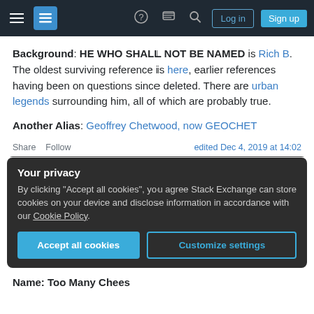Stack Exchange navigation bar with hamburger menu, logo, help icon, chat icon, search icon, Log in and Sign up buttons
Background: HE WHO SHALL NOT BE NAMED is Rich B. The oldest surviving reference is here, earlier references having been on questions since deleted. There are urban legends surrounding him, all of which are probably true.
Another Alias: Geoffrey Chetwood, now GEOCHET
Share   Follow   edited Dec 4, 2019 at 14:02
Your privacy
By clicking "Accept all cookies", you agree Stack Exchange can store cookies on your device and disclose information in accordance with our Cookie Policy.
Accept all cookies   Customize settings
Name: Too Many Chees...